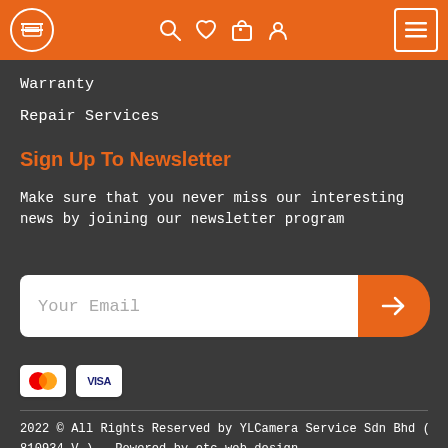[Navigation bar with icons: list/menu icon in circle, search, heart, cart, user icons, hamburger menu in box]
Warranty
Repair Services
Sign Up To Newsletter
Make sure that you never miss our interesting news by joining our newsletter program
[Figure (other): Email input field with placeholder 'Your Email' and orange arrow submit button]
[Figure (other): Payment icons: Mastercard and Visa logos]
2022 © All Rights Reserved by YLCamera Service Sdn Bhd ( 810934-V ) . Powered by etc web design